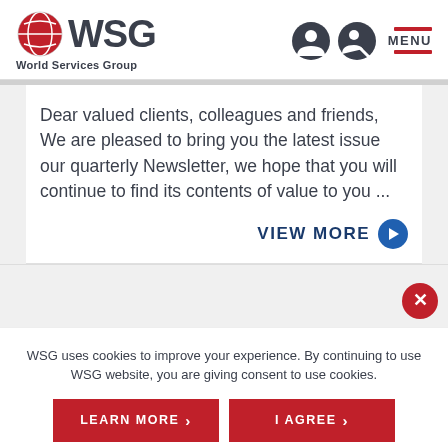[Figure (logo): WSG World Services Group logo with red globe icon]
Dear valued clients, colleagues and friends, We are pleased to bring you the latest issue our quarterly Newsletter, we hope that you will continue to find its contents of value to you ...
VIEW MORE
WSG uses cookies to improve your experience. By continuing to use WSG website, you are giving consent to use cookies.
LEARN MORE
I AGREE